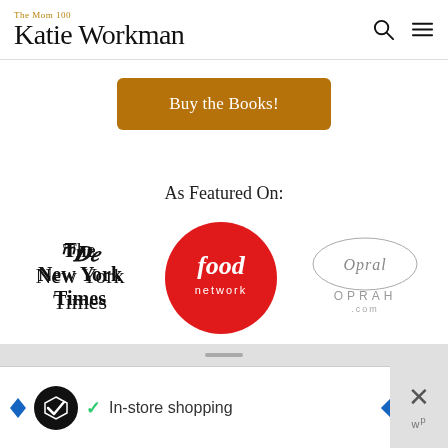The Mom 100 — Katie Workman
[Figure (illustration): Buy the Books! button — amber/brown rounded rectangle with white text]
As Featured On:
[Figure (logo): Three media logos side by side: The New York Times (blackletter serif), Food Network (red circle with white italic food network text), Oprah.com (cursive signature above OPRAH.COM text)]
Learn More
[Figure (screenshot): Advertisement banner at bottom: black circle logo, checkmark, In-store shopping text, blue diamond arrow icon, close X button on right]